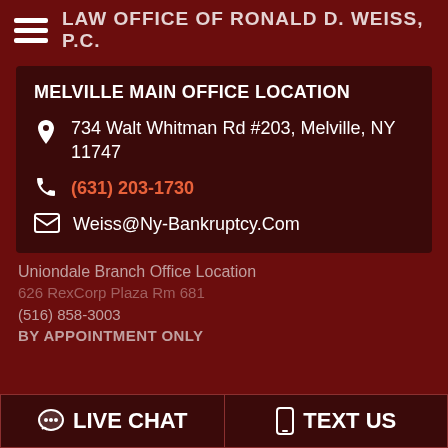LAW OFFICE OF RONALD D. WEISS, P.C.
MELVILLE MAIN OFFICE LOCATION
734 Walt Whitman Rd #203, Melville, NY 11747
(631) 203-1730
Weiss@Ny-Bankruptcy.Com
Uniondale Branch Office Location
626 RexCorp Plaza Rm 681
(516) 858-3003
BY APPOINTMENT ONLY
LIVE CHAT
TEXT US